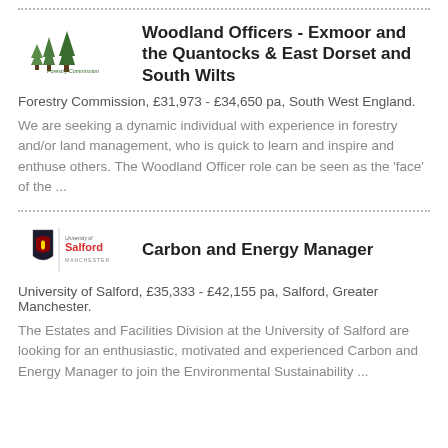[Figure (logo): Forestry Commission logo with green trees and text]
Woodland Officers - Exmoor and the Quantocks & East Dorset and South Wilts
Forestry Commission, £31,973 - £34,650 pa, South West England.
We are seeking a dynamic individual with experience in forestry and/or land management, who is quick to learn and inspire and enthuse others. The Woodland Officer role can be seen as the 'face' of the ...
[Figure (logo): University of Salford Manchester logo]
Carbon and Energy Manager
University of Salford, £35,333 - £42,155 pa, Salford, Greater Manchester.
The Estates and Facilities Division at the University of Salford are looking for an enthusiastic, motivated and experienced Carbon and Energy Manager to join the Environmental Sustainability ...